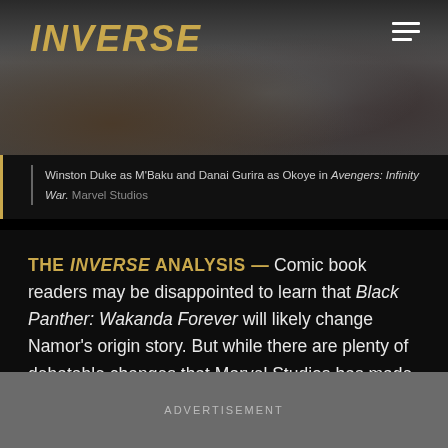[Figure (photo): Scene from Avengers: Infinity War showing characters, with the INVERSE logo overlaid in gold italic text at top left and a hamburger menu icon at top right]
Winston Duke as M'Baku and Danai Gurira as Okoye in Avengers: Infinity War. Marvel Studios
THE INVERSE ANALYSIS — Comic book readers may be disappointed to learn that Black Panther: Wakanda Forever will likely change Namor's origin story. But while there are plenty of debatable changes that Marvel Studios has made to its comic book lore over the years, this feels like an instance in which some alterations are justified.
ADVERTISEMENT